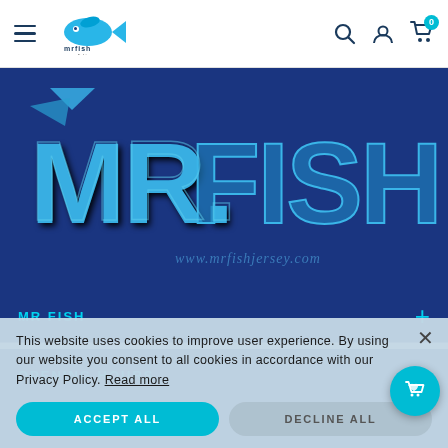[Figure (logo): MR FISH logo with fish icon in the navigation bar]
[Figure (illustration): MR FISH large blue logo text with fish illustration and www.mrfishjersey.com URL on dark blue background]
MR FISH
OPENING HOURS
This website uses cookies to improve user experience. By using our website you consent to all cookies in accordance with our Privacy Policy. Read more
ACCEPT ALL
DECLINE ALL